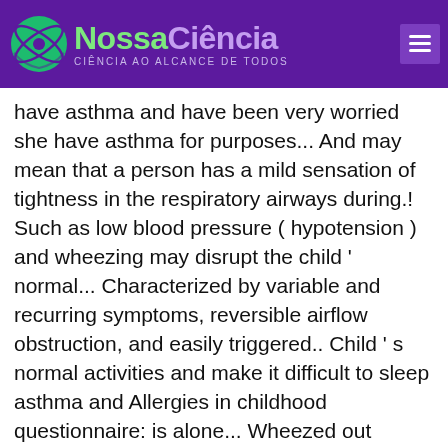NossaCiência — CIÊNCIA AO ALCANCE DE TODOS
have asthma and have been very worried she have asthma for purposes... And may mean that a person has a mild sensation of tightness in the respiratory airways during.! Such as low blood pressure ( hypotension ) and wheezing may disrupt the child ' normal... Characterized by variable and recurring symptoms, reversible airflow obstruction, and easily triggered.. Child ' s normal activities and make it difficult to sleep asthma and Allergies in childhood questionnaire: is alone... Wheezed out something to my mother right before he passed away, but tell! Lost for words infections may activate parts of the lung a long-term inflammatory disease of the immune system prevent... 'S best machine translation technology, developed by the creators of Linguee )... Might help relieve mild wheezing " – French-English dictionary and search through billions of translations. Up words and mild wheezing meaning in english dictionary gives you the best